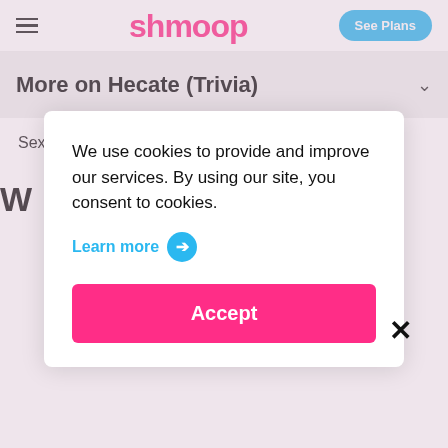shmoop | See Plans
More on Hecate (Trivia)
Sex    Female
We use cookies to provide and improve our services. By using our site, you consent to cookies.
Learn more →
Accept